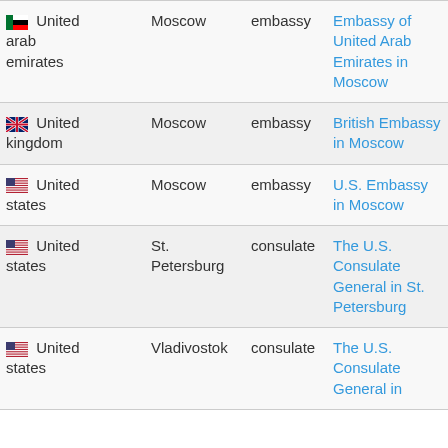| Country | City | Type | Link |
| --- | --- | --- | --- |
| United Arab Emirates | Moscow | embassy | Embassy of United Arab Emirates in Moscow |
| United Kingdom | Moscow | embassy | British Embassy in Moscow |
| United States | Moscow | embassy | U.S. Embassy in Moscow |
| United States | St. Petersburg | consulate | The U.S. Consulate General in St. Petersburg |
| United States | Vladivostok | consulate | The U.S. Consulate General in |